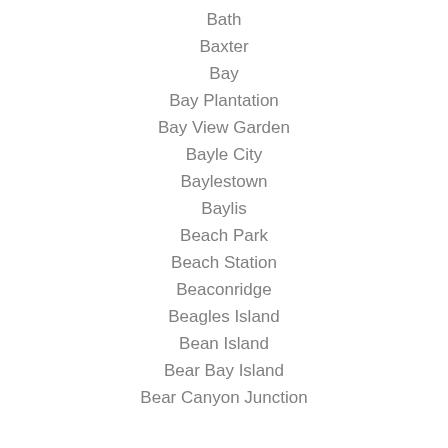Bath
Baxter
Bay
Bay Plantation
Bay View Garden
Bayle City
Baylestown
Baylis
Beach Park
Beach Station
Beaconridge
Beagles Island
Bean Island
Bear Bay Island
Bear Canyon Junction